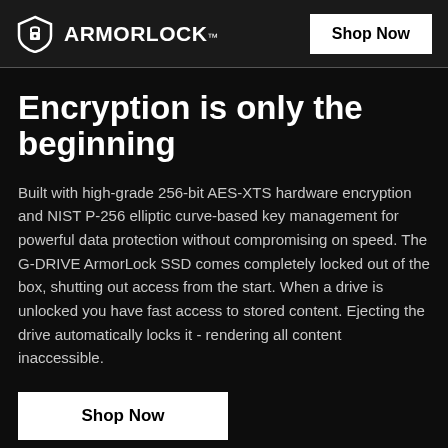ArmorLock — Shop Now (header bar)
Encryption is only the beginning
Built with high-grade 256-bit AES-XTS hardware encryption and NIST P-256 elliptic curve-based key management for powerful data protection without compromising on speed. The G-DRIVE ArmorLock SSD comes completely locked out of the box, shutting out access from the start. When a drive is unlocked you have fast access to stored content. Ejecting the drive automatically locks it - rendering all content inaccessible.
Shop Now